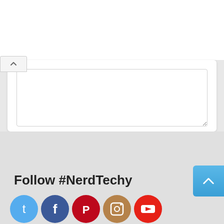[Figure (screenshot): Web comment form with textarea, Name and Email fields, and a Post Comment button, followed by a Follow #NerdTechy section with social media icons and a scroll-to-top button]
Follow #NerdTechy